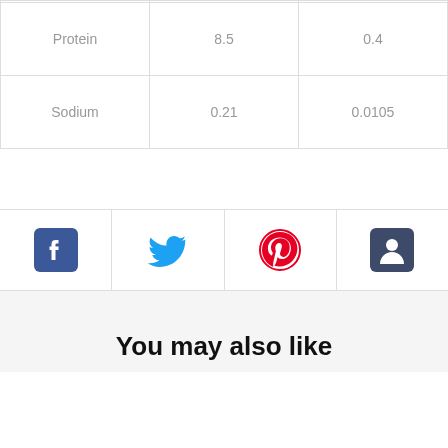| Protein | 8.5 | 0.4 |
| Sodium | 0.21 | 0.0105 |
[Figure (infographic): Social sharing icons row: Facebook, Twitter, Pinterest, and one other (black square with person icon)]
You may also like